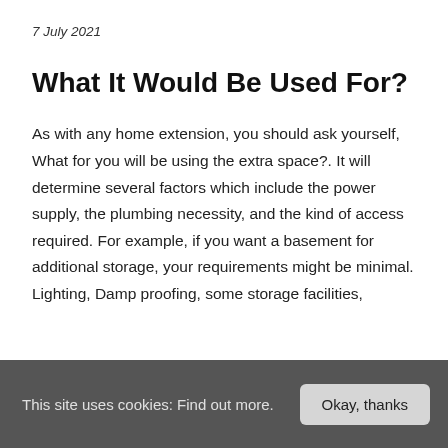7 July 2021
What It Would Be Used For?
As with any home extension, you should ask yourself, What for you will be using the extra space?. It will determine several factors which include the power supply, the plumbing necessity, and the kind of access required. For example, if you want a basement for additional storage, your requirements might be minimal. Lighting, Damp proofing, some storage facilities,
This site uses cookies: Find out more.